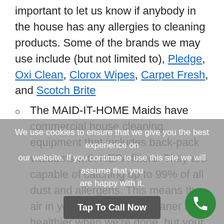important to let us know if anybody in the house has any allergies to cleaning products. Some of the brands we may use include (but not limited to), Pledge, Oxi Clean, Clorox Wipes, Carpet Fresh, and Scotch Brite
The MAID-IT-HOME Maids have commercial house cleaning equipment that includes back-pack vacuums with HEPA filters. They are capable of catching up to 99% of all dust and allergens. This means the air in your home will be cleaner and healthier when we're done, but your carpets and upholstery will be unbelievably clean.
When we bring our professional expertise and magic touch to your home, you'll be happy to have your mother-in-law give it the white glove test.
We're ecstatic that you're considering making us your go-to maid service when you could choose any maid service.